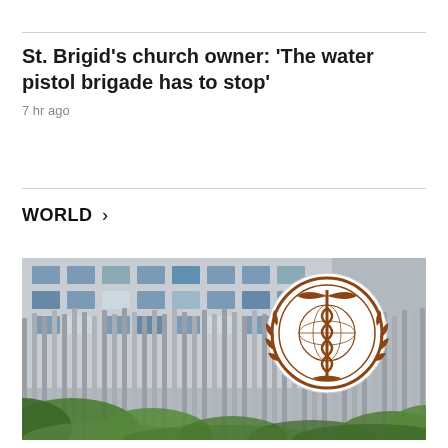St. Brigid's church owner: 'The water pistol brigade has to stop'
7 hr ago
WORLD >
[Figure (photo): WHO headquarters building exterior showing vertical metal columns/bars with the World Health Organization circular emblem/logo mounted on right side. Green foliage visible in foreground, multi-story building with windows in background.]